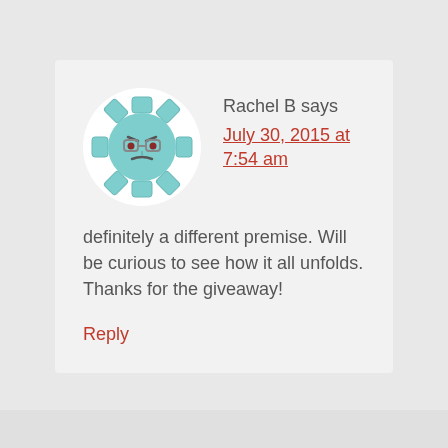[Figure (illustration): Circular avatar with white background containing a teal/cyan gear-shaped character with glasses and a grumpy expression]
Rachel B says
July 30, 2015 at 7:54 am
definitely a different premise. Will be curious to see how it all unfolds. Thanks for the giveaway!
Reply